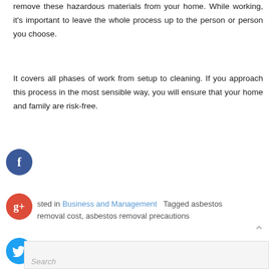remove these hazardous materials from your home. While working, it's important to leave the whole process up to the person or person you choose.
It covers all phases of work from setup to cleaning. If you approach this process in the most sensible way, you will ensure that your home and family are risk-free.
[Figure (other): Facebook social share button (blue circle with white f)]
[Figure (other): Google+ social share button (red circle with white g+)]
sted in Business and Management   Tagged asbestos removal cost, asbestos removal precautions
[Figure (other): Twitter social share button (blue circle with white bird)]
[Figure (other): Plus/add social share button (dark blue circle with white plus)]
Search